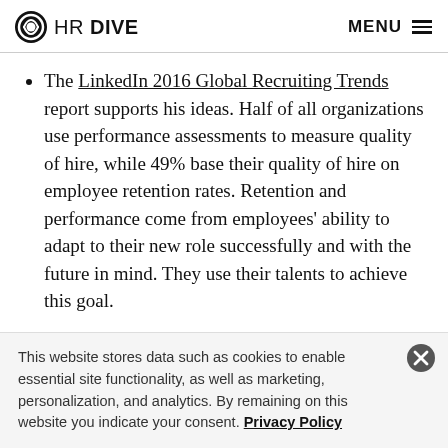HR DIVE | MENU
The LinkedIn 2016 Global Recruiting Trends report supports his ideas. Half of all organizations use performance assessments to measure quality of hire, while 49% base their quality of hire on employee retention rates. Retention and performance come from employees' ability to adapt to their new role successfully and with the future in mind. They use their talents to achieve this goal.
Kleiman says, “When you hire talent, those people will
This website stores data such as cookies to enable essential site functionality, as well as marketing, personalization, and analytics. By remaining on this website you indicate your consent. Privacy Policy